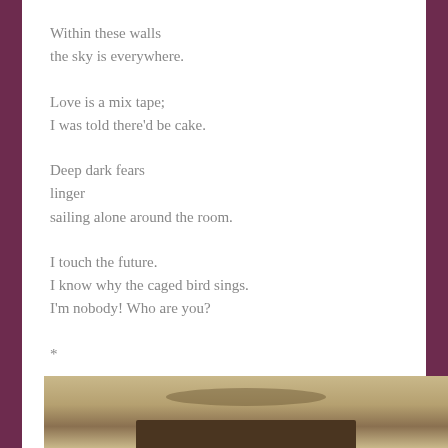Within these walls
the sky is everywhere.
Love is a mix tape;
I was told there'd be cake.
Deep dark fears
linger
sailing alone around the room.
I touch the future.
I know why the caged bird sings.
I'm nobody! Who are you?
*
[Figure (photo): Partial photo of what appears to be a wooden surface or furniture piece, visible at the bottom of the page.]